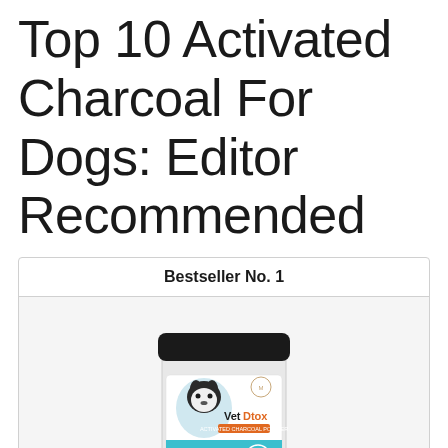Top 10 Activated Charcoal For Dogs: Editor Recommended
Bestseller No. 1
[Figure (photo): VetDtox Activated Charcoal Powder product jar with a black lid and white label featuring a dog image]
1qt VetDtox Activated Charcoal Powder for Pets & Livestock for poisonings, Health, Pets,